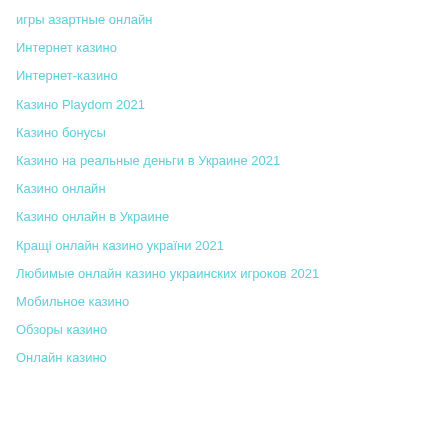игры азартные онлайн
Интернет казино
Интернет-казино
Казино Playdom 2021
Казино бонусы
Казино на реальные деньги в Украине 2021
Казино онлайн
Казино онлайн в Украине
Кращі онлайн казино україни 2021
Любимые онлайн казино украинских игроков 2021
Мобильное казино
Обзоры казино
Онлайн казино